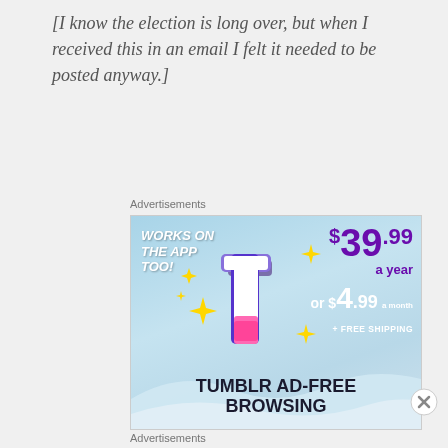[I know the election is long over, but when I received this in an email I felt it needed to be posted anyway.]
Advertisements
[Figure (infographic): Tumblr Ad-Free Browsing advertisement showing $39.99 a year or $4.99 a month plus free shipping, with Tumblr logo and 'Works on the App Too!' text on a light blue sky background]
Advertisements